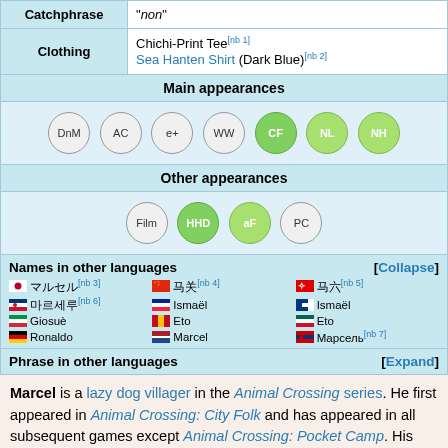|  |  |
| --- | --- |
| Catchphrase | "non" |
| Clothing | Chichi-Print Tee[nb 1]
Sea Hanten Shirt (Dark Blue)[nb 2] |
Main appearances
[Figure (infographic): Row of game badges: DnM, AC, e+, WW (grey), CF, NL, NH (green)]
Other appearances
[Figure (infographic): Row of game badges: Film (grey), HHD (green), aF (green), PC (grey)]
Names in other languages [Collapse]
| Flag | Name | Flag | Name | Flag | Name |
| --- | --- | --- | --- | --- | --- |
| JP | [nb 3] | CN | [nb 4] | HK | [nb 5] |
| KR | [nb 6] | FR | Ismaël | FI | Ismaël |
| IT | Giosuè | ES | Eto | MX | Eto |
| DE | Ronaldo | NL | Marcel | RU | Марсель[nb 7] |
Phrase in other languages [Expand]
Marcel is a lazy dog villager in the Animal Crossing series. He first appeared in Animal Crossing: City Folk and has appeared in all subsequent games except Animal Crossing: Pocket Camp. His catchphrase, "non," means "no" in French, and combined with his name and appearance, may reference the famous French mime,